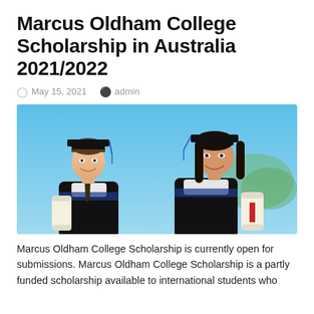Marcus Oldham College Scholarship in Australia 2021/2022
May 15, 2021   admin
[Figure (photo): Two smiling graduates in black caps and gowns with blue trim, holding diplomas, against a blue sky background.]
Marcus Oldham College Scholarship is currently open for submissions. Marcus Oldham College Scholarship is a partly funded scholarship available to international students who